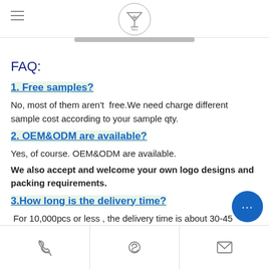Tapro (logo)
FAQ:
1. Free samples?
No, most of them aren't  free.We need charge different sample cost according to your sample qty.
2. OEM&ODM are available?
Yes, of course. OEM&ODM are available.
We also accept and welcome your own logo designs and packing requirements.
3.How long is the delivery time?
For 10,000pcs or less , the delivery time is about 30-45 days.The specific delivery time will depend on your order quantity and the producing difficulty.
Phone | Skype | Email